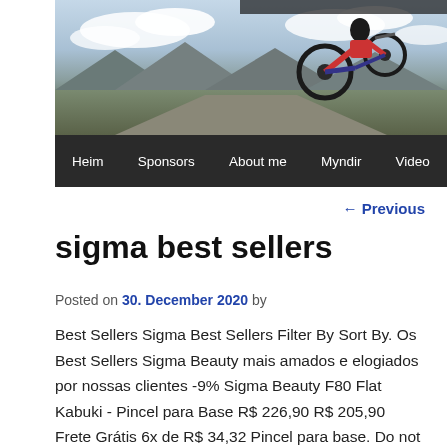[Figure (photo): Motocross dirt bike performing a jump against a cloudy sky and mountain landscape background, with a dark navigation bar below]
Heim   Sponsors   About me   Myndir   Video
← Previous
sigma best sellers
Posted on 30. December 2020 by
Best Sellers Sigma Best Sellers Filter By Sort By. Os Best Sellers Sigma Beauty mais amados e elogiados por nossas clientes -9% Sigma Beauty F80 Flat Kabuki - Pincel para Base R$ 226,90 R$ 205,90 Frete Grátis 6x de R$ 34,32 Pincel para base. Do not press the back button during this time. 120-300mm f/2.8 DG OS HSM S - . To comply with the new e-Privacy directive, we need to ask